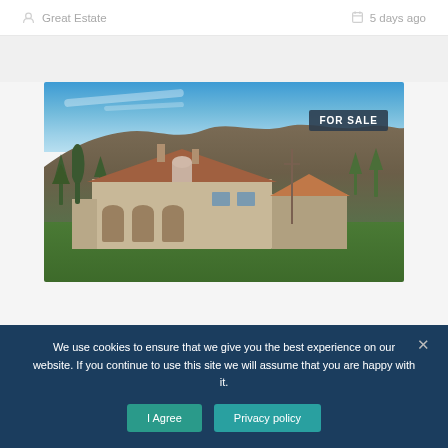Great Estate   5 days ago
[Figure (photo): Aerial/exterior photo of a Tuscan stone farmhouse estate with terracotta roofs, arched facade, set against forested hillside under blue sky. FOR SALE badge in upper right.]
We use cookies to ensure that we give you the best experience on our website. If you continue to use this site we will assume that you are happy with it.
I Agree   Privacy policy